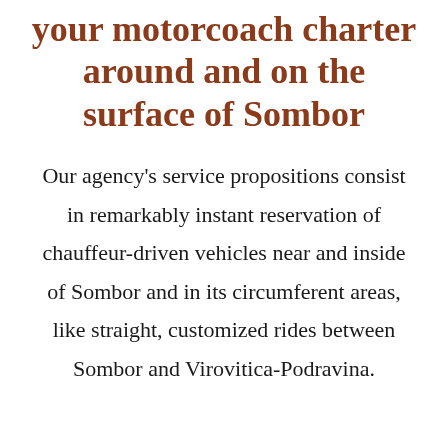your motorcoach charter around and on the surface of Sombor
Our agency's service propositions consist in remarkably instant reservation of chauffeur-driven vehicles near and inside of Sombor and in its circumferent areas, like straight, customized rides between Sombor and Virovitica-Podravina.